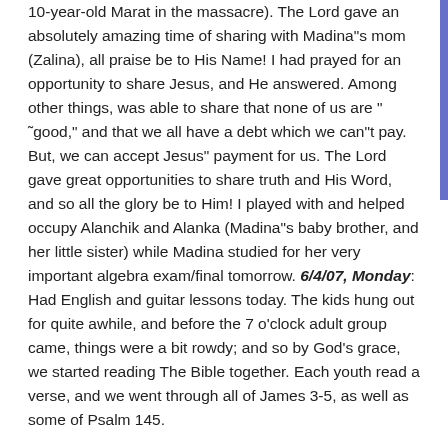10-year-old Marat in the massacre). The Lord gave an absolutely amazing time of sharing with Madina"s mom (Zalina), all praise be to His Name! I had prayed for an opportunity to share Jesus, and He answered. Among other things, was able to share that none of us are " ˜good," and that we all have a debt which we can"t pay. But, we can accept Jesus" payment for us. The Lord gave great opportunities to share truth and His Word, and so all the glory be to Him! I played with and helped occupy Alanchik and Alanka (Madina"s baby brother, and her little sister) while Madina studied for her very important algebra exam/final tomorrow. 6/4/07, Monday: Had English and guitar lessons today. The kids hung out for quite awhile, and before the 7 o'clock adult group came, things were a bit rowdy; and so by God's grace, we started reading The Bible together. Each youth read a verse, and we went through all of James 3-5, as well as some of Psalm 145.

6/7/07, Thursday: The English and guitar sessions in the afternoon were pretty discouraging" I somewhat like